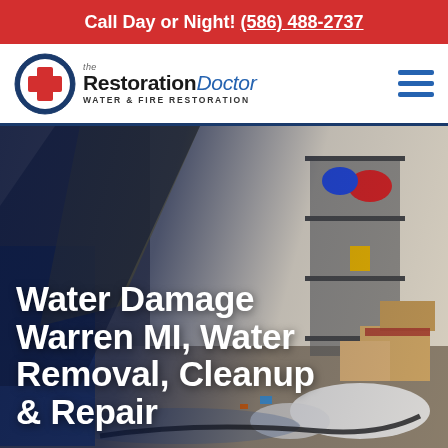Call Day or Night! (586) 488-2737
[Figure (logo): The Restoration Doctor — Water & Fire Restoration logo with circular badge containing a red cross and hammer icon]
[Figure (photo): A cluttered basement storage room with standing water damage, boxes, bags, shelving units with luggage and items, debris on the floor]
Water Damage Warren MI, Water Removal, Cleanup & Repair